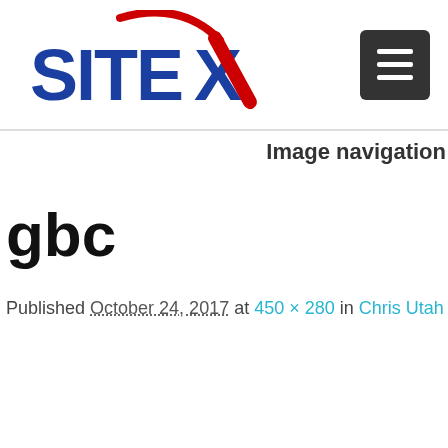[Figure (logo): SITEX logo with blue bold text and red checkmark/swoosh, alongside a dark square hamburger menu icon]
Image navigation
gbc
Published October 24, 2017 at 450 × 280 in Chris Utah